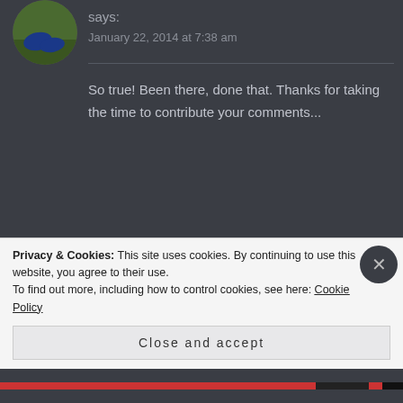says:
January 22, 2014 at 7:38 am
So true! Been there, done that. Thanks for taking the time to contribute your comments...
AMPHIBI1YOGINI says:  ↩ Reply
January 22, 2014 at 12:18 pm
Privacy & Cookies: This site uses cookies. By continuing to use this website, you agree to their use.
To find out more, including how to control cookies, see here: Cookie Policy
Close and accept